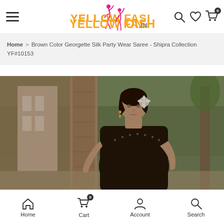YellowFashion.in — navigation header with hamburger menu, logo, search, wishlist, cart icons
Home > Brown Color Georgette Silk Party Wear Saree - Shipra Collection YF#10153
[Figure (photo): A model wearing a dark brown/black georgette silk saree, standing near a stone pillar with green trees in the background. She has a white flower in her hair and dangly earrings.]
Home  Cart (0)  Account  Search — bottom navigation bar